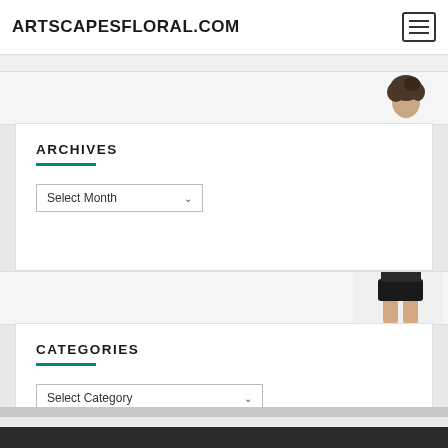ARTSCAPESFLORAL.COM
[Figure (photo): Partial view of a person with curly/wavy dark hair visible in upper right corner of strip]
ARCHIVES
Select Month
[Figure (photo): Partial view of a person in black clothing visible in right side of strip]
CATEGORIES
Select Category